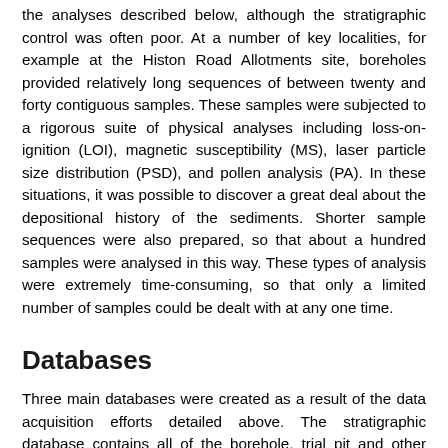the analyses described below, although the stratigraphic control was often poor. At a number of key localities, for example at the Histon Road Allotments site, boreholes provided relatively long sequences of between twenty and forty contiguous samples. These samples were subjected to a rigorous suite of physical analyses including loss-on-ignition (LOI), magnetic susceptibility (MS), laser particle size distribution (PSD), and pollen analysis (PA). In these situations, it was possible to discover a great deal about the depositional history of the sediments. Shorter sample sequences were also prepared, so that about a hundred samples were analysed in this way. These types of analysis were extremely time-consuming, so that only a limited number of samples could be dealt with at any one time.
Databases
Three main databases were created as a result of the data acquisition efforts detailed above. The stratigraphic database contains all of the borehole, trial pit and other stratigraphic records gathered from a myriad of sources throughout the project. There are at least 1500 individual records from the